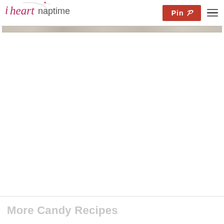i heart naptime
[Figure (screenshot): Thin horizontal image strip showing partial food/candy photo, muted beige/gray tones]
[Figure (photo): Large white/blank main content area]
More Candy Recipes